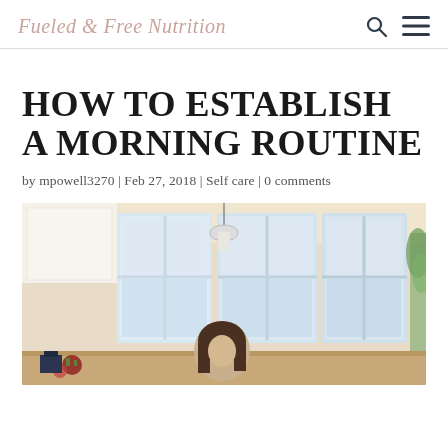Fueled & Free Nutrition
How to establish a morning routine
by mpowell3270 | Feb 27, 2018 | Self care | 0 comments
[Figure (photo): A woman in a bright kitchen with large windows, morning light coming through, standing near the counter with holiday decorations visible.]